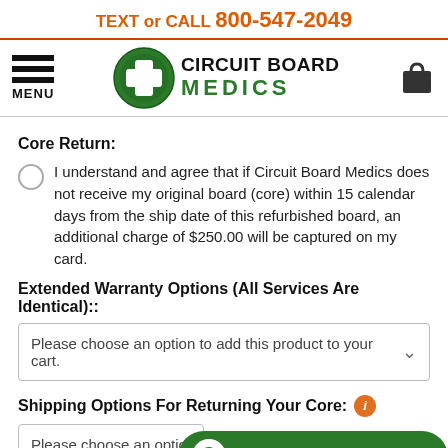TEXT or CALL 800-547-2049
[Figure (logo): Circuit Board Medics logo with green cross icon and company name]
Core Return:
I understand and agree that if Circuit Board Medics does not receive my original board (core) within 15 calendar days from the ship date of this refurbished board, an additional charge of $250.00 will be captured on my card.
Extended Warranty Options (All Services Are Identical)::
Please choose an option to add this product to your cart.
Shipping Options For Returning Your Core:
Please choose an option
Chat with us. We are online!